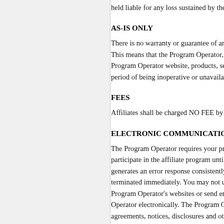held liable for any loss sustained by the Program Operator, or its
AS-IS ONLY
There is no warranty or guarantee of any kind with respect to the This means that the Program Operator, or its associates is not res Program Operator website, products, services, or any other facet period of being inoperative or unavailable, loss of data or discon
FEES
Affiliates shall be charged NO FEE by the Program Operator for
ELECTRONIC COMMUNICATIONS & EMAIL
The Program Operator requires your primary email address be li participate in the affiliate program until their email addresses are generates an error response consistently (e.g., "User is over quot terminated immediately. You may not use an email address with Program Operator's websites or send emails to, you are commun Operator electronically. The Program Operator will communicat agreements, notices, disclosures and other communications that that such communications be in writing. If you are an affiliate, y Program Operator.